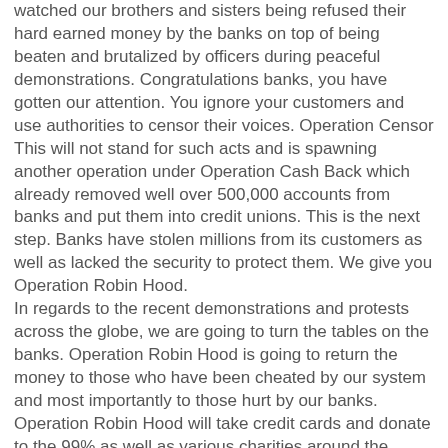watched our brothers and sisters being refused their hard earned money by the banks on top of being beaten and brutalized by officers during peaceful demonstrations. Congratulations banks, you have gotten our attention. You ignore your customers and use authorities to censor their voices. Operation Censor This will not stand for such acts and is spawning another operation under Operation Cash Back which already removed well over 500,000 accounts from banks and put them into credit unions. This is the next step. Banks have stolen millions from its customers as well as lacked the security to protect them. We give you Operation Robin Hood.
In regards to the recent demonstrations and protests across the globe, we are going to turn the tables on the banks. Operation Robin Hood is going to return the money to those who have been cheated by our system and most importantly to those hurt by our banks. Operation Robin Hood will take credit cards and donate to the 99% as well as various charities around the globe. The banks will be forced to reimburse the people there money back.
We are going to take what belongs to us. The Banks have thrown people out on the streets with corrupted actions. When the...